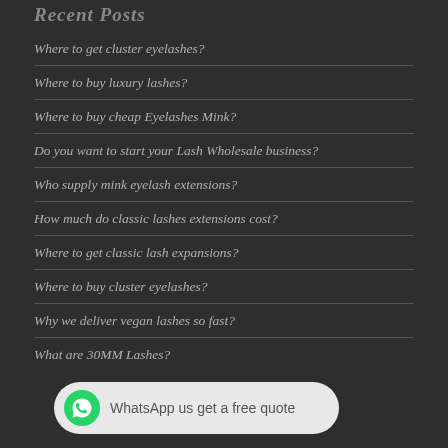Recent Posts
Where to get cluster eyelashes?
Where to buy luxury lashes?
Where to buy cheap Eyelashes Mink?
Do you want to start your Lash Wholesale business?
Who supply mink eyelash extensions?
How much do classic lashes extensions cost?
Where to get classic lash expansions?
Where to buy cluster eyelashes?
Why we deliver vegan lashes so fast?
What are 30MM Lashes?
[Figure (other): WhatsApp contact button with green WhatsApp logo icon and text 'WhatsApp us get a free quote' on a light grey rounded rectangle background]